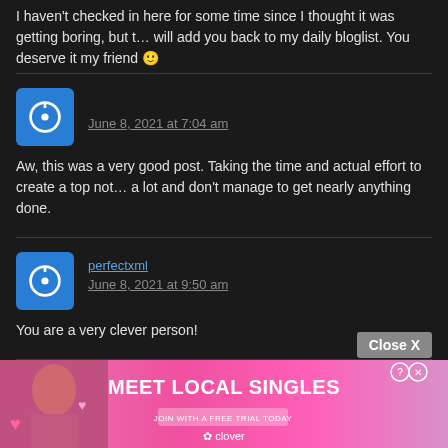I haven’t checked in here for some time since I thought it was getting boring, but the last few posts are really great so I guess I will add you back to my daily bloglist. You deserve it my friend 🙂
June 8, 2021 at 7:04 am
Aw, this was a very good post. Taking the time and actual effort to create a top notch article… but what can I say… I procrastinate a lot and don’t manage to get nearly anything done.
perfectxml
June 8, 2021 at 9:50 am
You are a very clever person!
June 8, 2021 at 1:10 pm
Everything is very open with a really clear description of the issues. It was truly informative. Your site is very useful. Thanks for sharing!
[Figure (screenshot): Advertisement banner: 'MEET LOCAL SINGLES - JOIN WITH A FREE TRIAL TODAY' from Clover, with a photo of a woman and pink/gradient background. Has a 'Close X' button above it.]